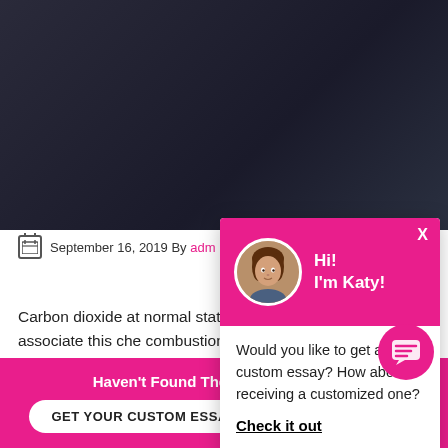[Figure (screenshot): Dark gradient header background image showing a night scene]
September 16, 2019  By adm
Carbon dioxide at normal state, and its chemical eq people associate this che combustion engine, which In fact, the largest producer of carbon dioxide, in the d
[Figure (screenshot): Pink chat popup with avatar photo of Katy, greeting Hi! I'm Katy!, and message: Would you like to get a custom essay? How about receiving a customized one? Check it out]
Would you like to get a custom essay? How about receiving a customized one?
Check it out
Haven't Found The Essay You Want?
GET YOUR CUSTOM ESSAY
For Only $13.90/page